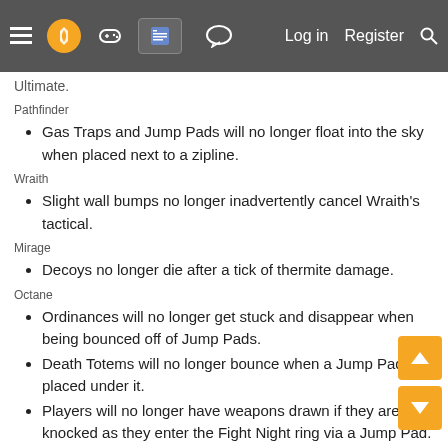Navigation bar with menu, logo, wiki, chat icons and Log in, Register, Search links
Ultimate.
Pathfinder
Gas Traps and Jump Pads will no longer float into the sky when placed next to a zipline.
Wraith
Slight wall bumps no longer inadvertently cancel Wraith's tactical.
Mirage
Decoys no longer die after a tick of thermite damage.
Octane
Ordinances will no longer get stuck and disappear when being bounced off of Jump Pads.
Death Totems will no longer bounce when a Jump Pad is placed under it.
Players will no longer have weapons drawn if they are knocked as they enter the Fight Night ring via a Jump Pad.
Updated Octane's Helicopter emote to correctly remove his leg for which he is using it to do said